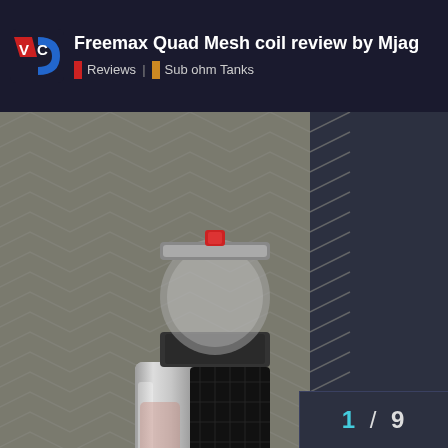Freemax Quad Mesh coil review by Mjag | Reviews | Sub ohm Tanks
[Figure (photo): A vape mod device with a silver and black textured body, topped with a clear glass sub-ohm tank, photographed against a grey chevron patterned background.]
1 / 9